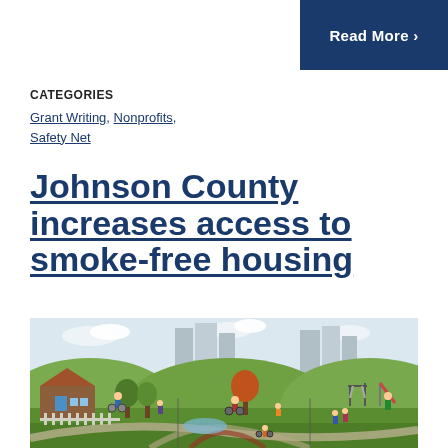Read More >
CATEGORIES
Grant Writing, Nonprofits, Safety Net
Johnson County increases access to smoke-free housing
[Figure (illustration): Illustrated community scene showing people biking, playing, and enjoying parks and neighborhoods with houses and city buildings in the background]